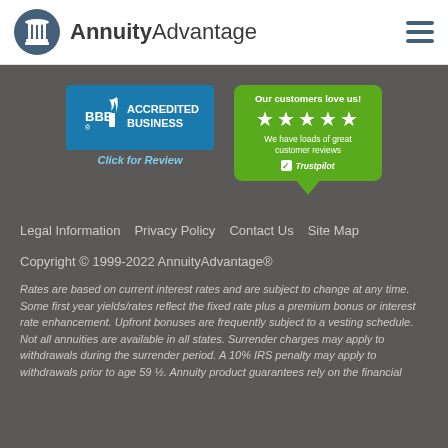AnnuityAdvantage
[Figure (logo): BBB Accredited Business badge with 'Click for Review' text]
[Figure (infographic): Trustpilot badge: 'Our customers love us!' with 5 stars and 'We have loads of great customer reviews']
Legal Information   Privacy Policy   Contact Us   Site Map
Copyright © 1999-2022 AnnuityAdvantage®
Rates are based on current interest rates and are subject to change at any time. Some first year yields/rates reflect the fixed rate plus a premium bonus or interest rate enhancement. Upfront bonuses are frequently subject to a vesting schedule. Not all annuities are available in all states. Surrender charges may apply to withdrawals during the surrender period. A 10% IRS penalty may apply to withdrawals prior to age 59 ½. Annuity product guarantees rely on the financial